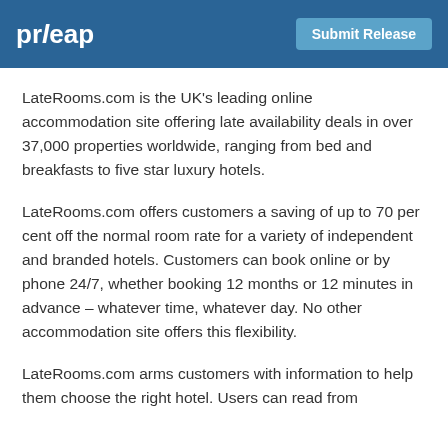prleap | Submit Release
LateRooms.com is the UK’s leading online accommodation site offering late availability deals in over 37,000 properties worldwide, ranging from bed and breakfasts to five star luxury hotels.
LateRooms.com offers customers a saving of up to 70 per cent off the normal room rate for a variety of independent and branded hotels. Customers can book online or by phone 24/7, whether booking 12 months or 12 minutes in advance – whatever time, whatever day. No other accommodation site offers this flexibility.
LateRooms.com arms customers with information to help them choose the right hotel. Users can read from